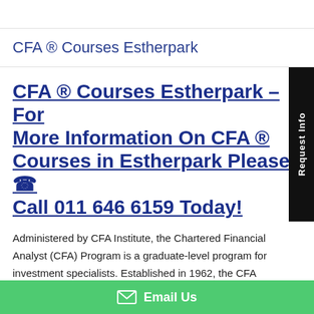CFA ® Courses Estherpark
CFA ® Courses Estherpark – For More Information On CFA ® Courses in Estherpark Please ☎ Call 011 646 6159 Today!
Administered by CFA Institute, the Chartered Financial Analyst (CFA) Program is a graduate-level program for investment specialists. Established in 1962, the CFA
Email Us